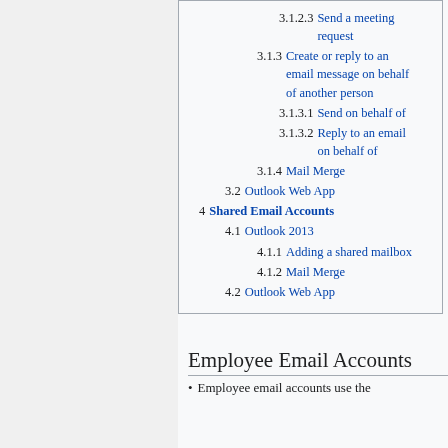3.1.2.3 Send a meeting request
3.1.3 Create or reply to an email message on behalf of another person
3.1.3.1 Send on behalf of
3.1.3.2 Reply to an email on behalf of
3.1.4 Mail Merge
3.2 Outlook Web App
4 Shared Email Accounts
4.1 Outlook 2013
4.1.1 Adding a shared mailbox
4.1.2 Mail Merge
4.2 Outlook Web App
Employee Email Accounts
Employee email accounts use the